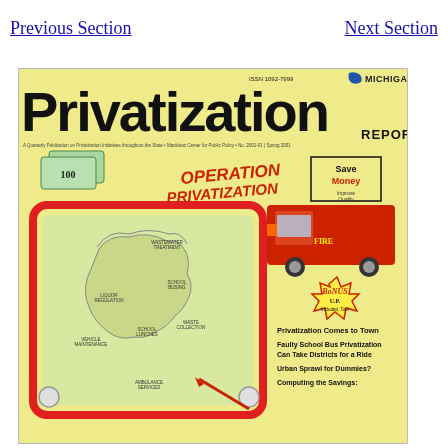Previous Section
Next Section
[Figure (illustration): Cover of Michigan Privatization Report, No. 2001-01, Spring 2001. Features large bold title 'Privatization' with 'MICHIGAN' and 'REPORT' text, ISSN 1092-7999. Center illustration shows 'OPERATION PRIVATIZATION' in red italic text with 'Save Money / Improve Quality' box. Yellow background with a red-bordered Etch-a-Sketch style board showing a map of Michigan with labeled icons for various services: Wastewater Treatment, School Busing, Liquor Regulation, School Lunches, Waste Collection, Vehicle Maintenance, Ambulance Services. A fire truck image appears top right with 'BONUS U.P. Included, Too!' starburst. Bottom right lists article titles: Privatization Comes to Town; Faulty School Bus Privatization Can Take Districts for a Ride; Urban Sprawl for Dummies?; Computing the Savings:]